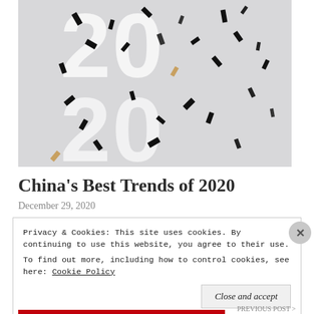[Figure (photo): Abstract photo of the number 2020 in white on a light grey background with scattered black confetti pieces falling]
China’s Best Trends of 2020
December 29, 2020
Privacy & Cookies: This site uses cookies. By continuing to use this website, you agree to their use.
To find out more, including how to control cookies, see here: Cookie Policy
Close and accept